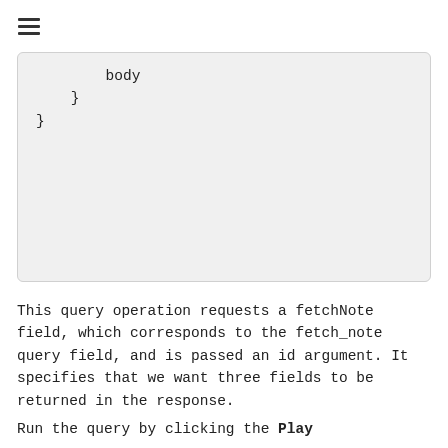≡
body
  }
}
This query operation requests a fetchNote field, which corresponds to the fetch_note query field, and is passed an id argument. It specifies that we want three fields to be returned in the response.
Run the query by clicking the Play